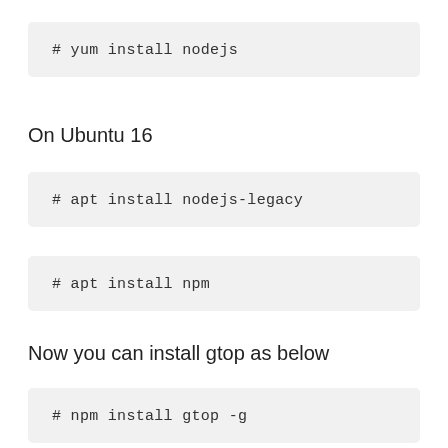# yum install nodejs
On Ubuntu 16
# apt install nodejs-legacy
# apt install npm
Now you can install gtop as below
# npm install gtop -g